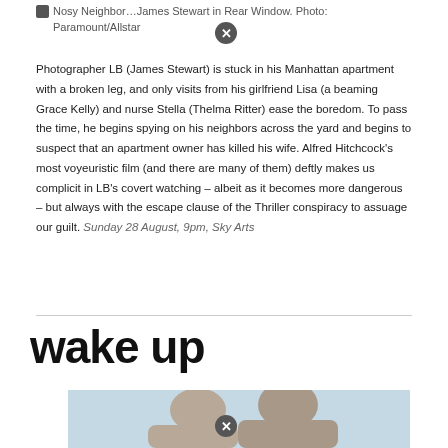Nosy Neighbor…James Stewart in Rear Window. Photo: Paramount/Allstar
Photographer LB (James Stewart) is stuck in his Manhattan apartment with a broken leg, and only visits from his girlfriend Lisa (a beaming Grace Kelly) and nurse Stella (Thelma Ritter) ease the boredom. To pass the time, he begins spying on his neighbors across the yard and begins to suspect that an apartment owner has killed his wife. Alfred Hitchcock's most voyeuristic film (and there are many of them) deftly makes us complicit in LB's covert watching – albeit as it becomes more dangerous – but always with the escape clause of the Thriller conspiracy to assuage our guilt. Sunday 28 August, 9pm, Sky Arts
wake up
[Figure (photo): Photo of two elderly people, cropped at bottom of page, light blue background]